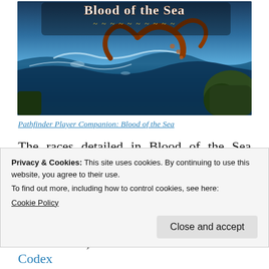[Figure (illustration): Book cover image for Pathfinder Player Companion: Blood of the Sea, showing ocean waves, tentacles, and rocky coastal scenery with the title text 'Blood of the Sea' in stylized lettering.]
Pathfinder Player Companion: Blood of the Sea
The races detailed in Blood of the Sea include aquatic elves, cecaelias, gillmen, locathahs, merfolk, tritons, adaro, grindylow, and sahuagin. Statistics for playing these races as characters are including for all of these races
Privacy & Cookies: This site uses cookies. By continuing to use this website, you agree to their use.
To find out more, including how to control cookies, see here:
Cookie Policy
Close and accept
World Guide, and the Inner Sea Monster Codex